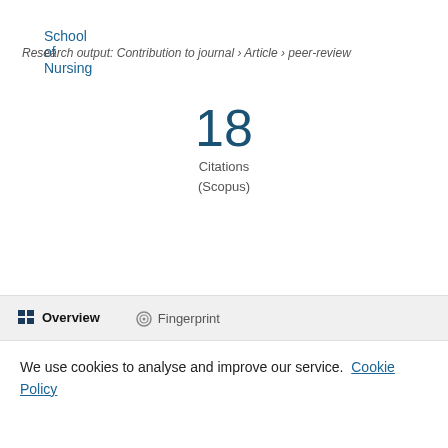School of Nursing
Research output: Contribution to journal › Article › peer-review
18 Citations (Scopus)
Overview   Fingerprint
We use cookies to analyse and improve our service. Cookie Policy